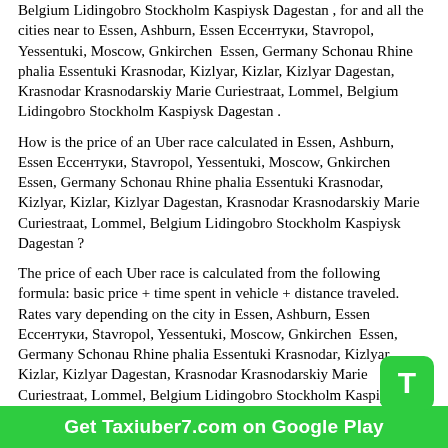Belgium Lidingobro Stockholm Kaspiysk Dagestan , for and all the cities near to Essen, Ashburn, Essen Ессентуки, Stavropol, Yessentuki, Moscow, Gnkirchen  Essen, Germany Schonau Rhine phalia Essentuki Krasnodar, Kizlyar, Kizlar, Kizlyar Dagestan, Krasnodar Krasnodarskiy Marie Curiestraat, Lommel, Belgium Lidingobro Stockholm Kaspiysk Dagestan .
How is the price of an Uber race calculated in Essen, Ashburn, Essen Ессентуки, Stavropol, Yessentuki, Moscow, Gnkirchen  Essen, Germany Schonau Rhine phalia Essentuki Krasnodar, Kizlyar, Kizlar, Kizlyar Dagestan, Krasnodar Krasnodarskiy Marie Curiestraat, Lommel, Belgium Lidingobro Stockholm Kaspiysk Dagestan ?
The price of each Uber race is calculated from the following formula: basic price + time spent in vehicle + distance traveled. Rates vary depending on the city in Essen, Ashburn, Essen Ессентуки, Stavropol, Yessentuki, Moscow, Gnkirchen  Essen, Germany Schonau Rhine phalia Essentuki Krasnodar, Kizlyar, Kizlar, Kizlyar Dagestan, Krasnodar Krasnodarskiy Marie Curiestraat, Lommel, Belgium Lidingobro Stockholm Kaspiysk Dagestan and the type of vehicle.
This pricing is dynamic and the price of a race sometimes includes multiplier. This dynamic pricing depends on local demand in different areas of the city in Essen, Ashburn,  Essen Ессентуки, Stavropol, Yessentuki, Moscow, Gnkirchen  Essen, Germany Schonau Rhine phalia Essentuki Krasnodar, Kizlyar, Kizlar, Kiz...
Get Taxiuber7.com on Google Play